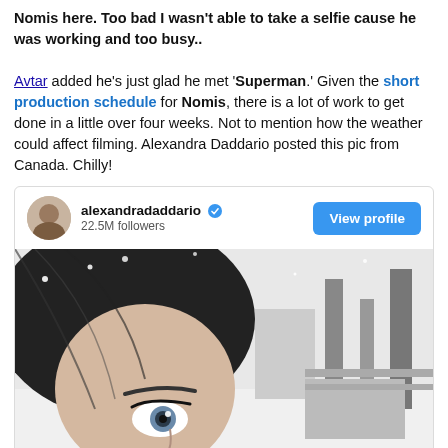Nomis here. Too bad I wasn't able to take a selfie cause he was working and too busy.. Avtar added he's just glad he met 'Superman.' Given the short production schedule for Nomis, there is a lot of work to get done in a little over four weeks. Not to mention how the weather could affect filming. Alexandra Daddario posted this pic from Canada. Chilly!
[Figure (screenshot): Instagram profile card for alexandradaddario with 22.5M followers, showing a View profile button and a black-and-white selfie photo of a woman close-up with snowy outdoor background in Canada.]